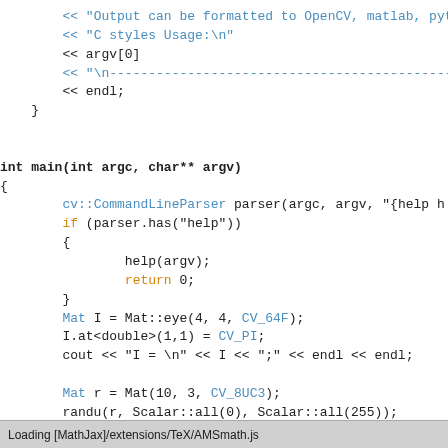[Figure (screenshot): Code editor screenshot showing C++ source code with syntax highlighting. Code includes stream output statements, main function definition, CommandLineParser usage, conditional help block, Mat operations with CV_64F and CV_PI constants, randu call, and cout format statements.]
Loading [MathJax]/extensions/TeX/AMSmath.js